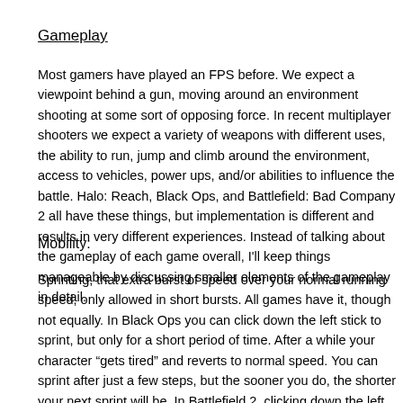Gameplay
Most gamers have played an FPS before. We expect a viewpoint behind a gun, moving around an environment shooting at some sort of opposing force. In recent multiplayer shooters we expect a variety of weapons with different uses, the ability to run, jump and climb around the environment, access to vehicles, power ups, and/or abilities to influence the battle. Halo: Reach, Black Ops, and Battlefield: Bad Company 2 all have these things, but implementation is different and results in very different experiences. Instead of talking about the gameplay of each game overall, I'll keep things manageable by discussing smaller elements of the gameplay in detail.
Mobility:
Sprinting, that extra burst of speed over your normal running speed, only allowed in short bursts. All games have it, though not equally. In Black Ops you can click down the left stick to sprint, but only for a short period of time. After a while your character "gets tired" and reverts to normal speed. You can sprint after just a few steps, but the sooner you do, the shorter your next sprint will be. In Battlefield 2, clicking down the left stick while running will let you sprint across the map as far as you want to. Reach's sprint is actually optional most of the time. Unlike Bad Company 2 and Black Ops where sprint is shared by every player in the game, sprint is one of Reach's "armor abilities" which I will discuss in a section. Assuming you have selected the sprint ability Reach's sprint is much like